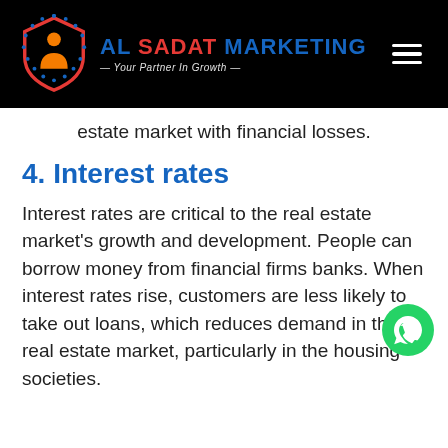AL SADAT MARKETING — Your Partner In Growth
estate market with financial losses.
4. Interest rates
Interest rates are critical to the real estate market's growth and development. People can borrow money from financial firms banks. When interest rates rise, customers are less likely to take out loans, which reduces demand in the real estate market, particularly in the housing societies.